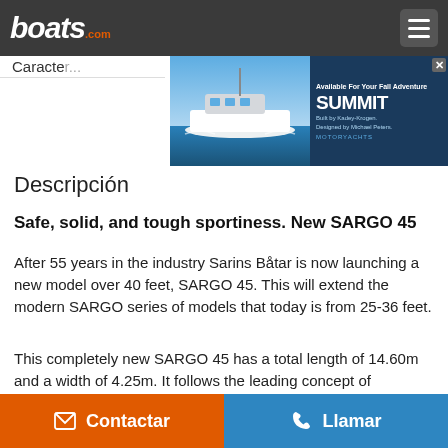boats.com
Características
[Figure (screenshot): Advertisement banner for Summit Motoryachts showing a boat image and text 'Available For Your Fall Adventure. SUMMIT Built by Kadey-Krogen. Designed by Michael Peters. MOTORYACHTS']
Descripción
Safe, solid, and tough sportiness. New SARGO 45
After 55 years in the industry Sarins Båtar is now launching a new model over 40 feet, SARGO 45. This will extend the modern SARGO series of models that today is from 25-36 feet.
This completely new SARGO 45 has a total length of 14.60m and a width of 4.25m. It follows the leading concept of SARGO's tough all-season boats and is, of course, equipped with wide side doors for easy access, single level deck, gate
Contactar   Llamar